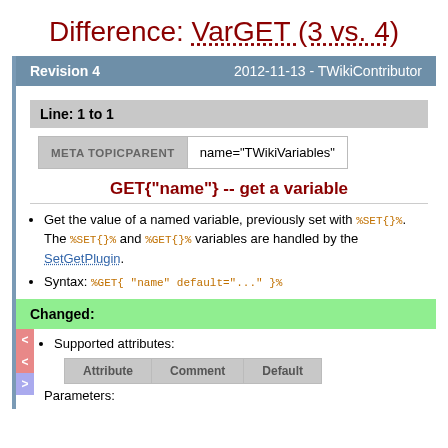Difference: VarGET (3 vs. 4)
Revision 4    2012-11-13 - TWikiContributor
Line: 1 to 1
| META TOPICPARENT | name="TWikiVariables" |
| --- | --- |
GET{"name"} -- get a variable
Get the value of a named variable, previously set with %SET{}%. The %SET{}% and %GET{}% variables are handled by the SetGetPlugin.
Syntax: %GET{ "name" default="..." }%
Changed:
Supported attributes:
| Attribute | Comment | Default |
| --- | --- | --- |
Parameters: